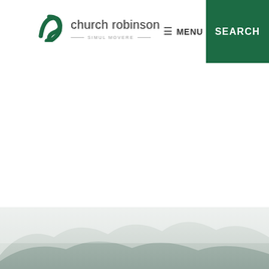church robinson — SIMUL MOVERE — MENU SEARCH
[Figure (photo): Misty mountainous landscape with light gray tones, partial view at bottom of page]